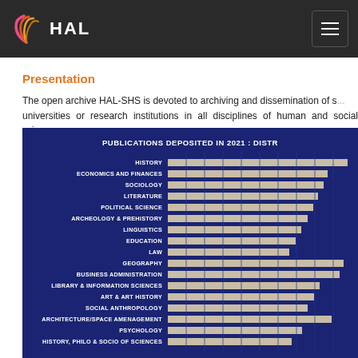HAL
Presentation
The open archive HAL-SHS is devoted to archiving and dissemination of scientific works from universities or research institutions in all disciplines of human and social sciences.
[Figure (bar-chart): PUBLICATIONS DEPOSITED IN 2021 : DISTRIBUTION BY DISCIPLINE]